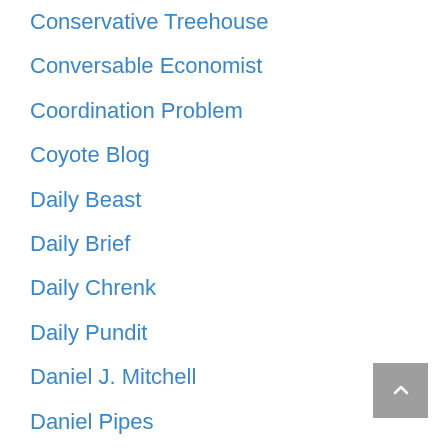Conservative Treehouse
Conversable Economist
Coordination Problem
Coyote Blog
Daily Beast
Daily Brief
Daily Chrenk
Daily Pundit
Daniel J. Mitchell
Daniel Pipes
Datechguy
David Friedman
David Reaboi
David Thompson